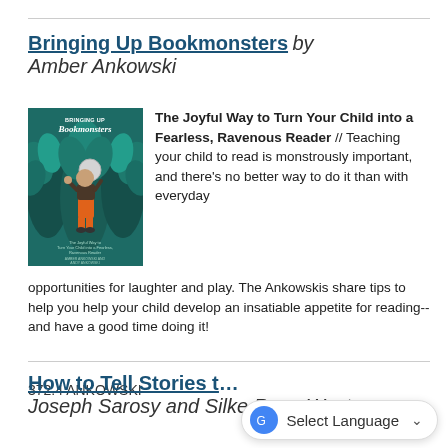Bringing Up Bookmonsters by Amber Ankowski
[Figure (photo): Book cover of 'Bringing Up Bookmonsters' featuring a teal/dark green background with illustrated plants and a cartoon character in orange pants]
The Joyful Way to Turn Your Child into a Fearless, Ravenous Reader // Teaching your child to read is monstrously important, and there's no better way to do it than with everyday opportunities for laughter and play. The Ankowskis share tips to help you help your child develop an insatiable appetite for reading-- and have a good time doing it!
372.4 ANKOWSKI
How to Tell Stories to Children by Joseph Sarosy and Silke Rose West